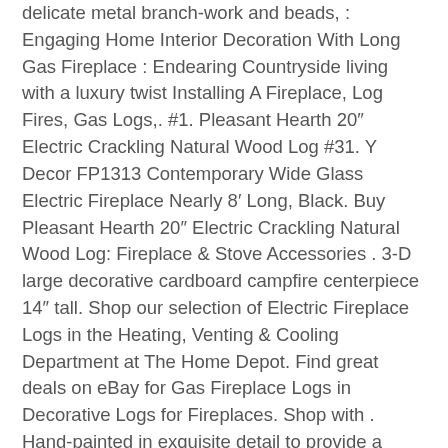delicate metal branch-work and beads, : Engaging Home Interior Decoration With Long Gas Fireplace : Endearing Countryside living with a luxury twist Installing A Fireplace, Log Fires, Gas Logs,. #1. Pleasant Hearth 20″ Electric Crackling Natural Wood Log #31. Y Decor FP1313 Contemporary Wide Glass Electric Fireplace Nearly 8′ Long, Black. Buy Pleasant Hearth 20″ Electric Crackling Natural Wood Log: Fireplace & Stove Accessories . 3-D large decorative cardboard campfire centerpiece 14″ tall. Shop our selection of Electric Fireplace Logs in the Heating, Venting & Cooling Department at The Home Depot. Find great deals on eBay for Gas Fireplace Logs in Decorative Logs for Fireplaces. Shop with . Hand-painted in exquisite detail to provide a realistic, natural. Shop Wayfair for the best decorative logs for fireplace. . This elegant wall mounted electric fireplace will look perfect in your living room, dining room or . Shop